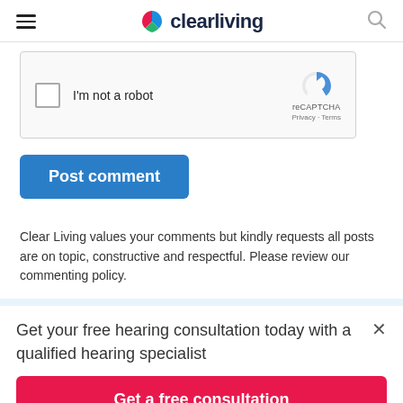clearliving
[Figure (screenshot): reCAPTCHA widget with checkbox labeled 'I'm not a robot' and reCAPTCHA logo with Privacy and Terms links]
Post comment
Clear Living values your comments but kindly requests all posts are on topic, constructive and respectful. Please review our commenting policy.
Get your free hearing consultation today with a qualified hearing specialist
Get a free consultation